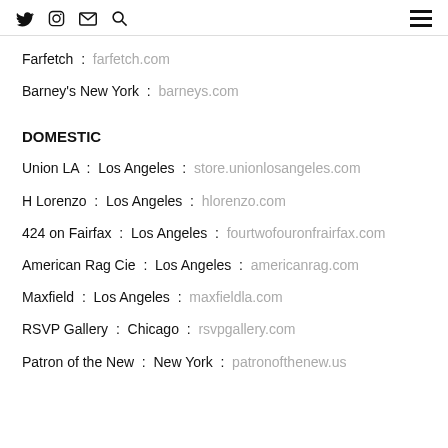[social icons: twitter, instagram, email, search] [hamburger menu]
Farfetch : farfetch.com
Barney's New York : barneys.com
DOMESTIC
Union LA : Los Angeles : store.unionlosangeles.com
H Lorenzo : Los Angeles : hlorenzo.com
424 on Fairfax : Los Angeles : fourtwofouronfrairfax.com
American Rag Cie : Los Angeles : americanrag.com
Maxfield : Los Angeles : maxfieldla.com
RSVP Gallery : Chicago : rsvpgallery.com
Patron of the New : New York : patronofthenew.us